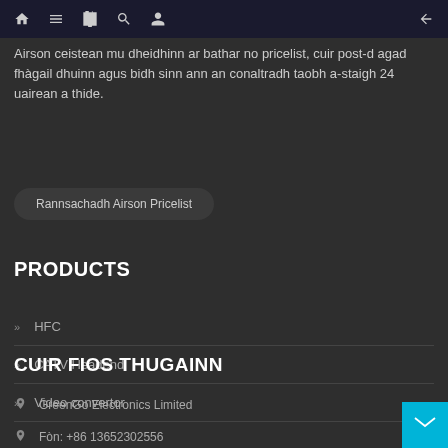Navigation bar with home, menu, book, search, profile icons and back arrow
Airson ceistean mu dheidhinn ar bathar no pricelist, cuir post-d agad fhàgail dhuinn agus bidh sinn ann an conaltradh taobh a-staigh 24 uairean a thide.
Rannsachadh Airson Pricelist
PRODUCTS
HFC
CATV Headend
Video convertor
CUIR FIOS THUGAINN
GreenGo Electronics Limited
Fòn: +86 13652302556